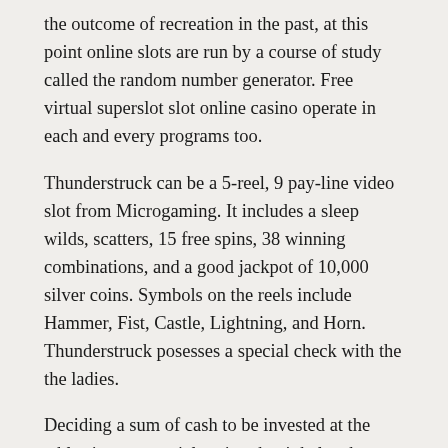the outcome of recreation in the past, at this point online slots are run by a course of study called the random number generator. Free virtual superslot slot online casino operate in each and every programs too.
Thunderstruck can be a 5-reel, 9 pay-line video slot from Microgaming. It includes a sleep wilds, scatters, 15 free spins, 38 winning combinations, and a good jackpot of 10,000 silver coins. Symbols on the reels include Hammer, Fist, Castle, Lightning, and Horn. Thunderstruck posesses a special check with the the ladies.
Deciding a sum of cash to be invested at the tables is very crucial seeing that it helps the participants limit themselves in case they lose the table bets. Besides, it is very important to sign on top of a video slot provider that is genuine. In fact, those items when you to select